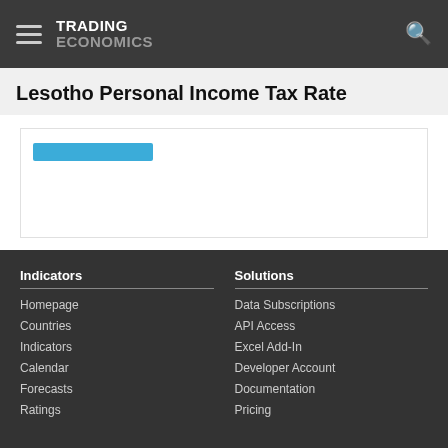TRADING ECONOMICS
Lesotho Personal Income Tax Rate
[Figure (other): Partial chart area with a blue tab/button visible at top-left, chart content mostly cropped]
Indicators
Homepage
Countries
Indicators
Calendar
Forecasts
Ratings
Solutions
Data Subscriptions
API Access
Excel Add-In
Developer Account
Documentation
Pricing